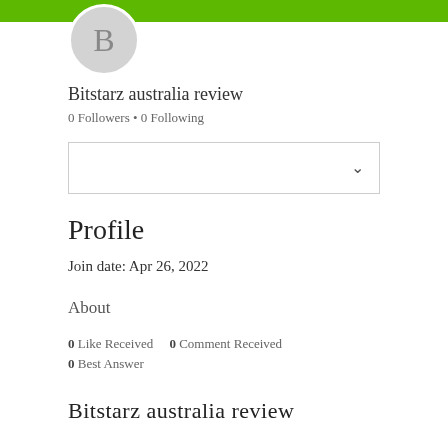[Figure (screenshot): Green banner header with white rectangle button outline on the right side]
[Figure (illustration): Gray circular avatar with letter B in the center]
Bitstarz australia review
0 Followers • 0 Following
[Figure (screenshot): Dropdown selector box with a chevron/down arrow on the right side]
Profile
Join date: Apr 26, 2022
About
0 Like Received   0 Comment Received
0 Best Answer
Bitstarz australia review